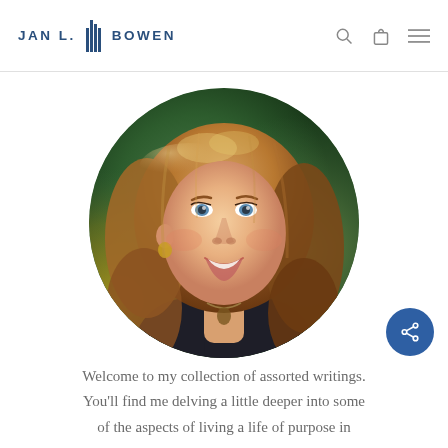JAN L. BOWEN
[Figure (photo): Circular portrait photo of Jan L. Bowen, a woman with long auburn/blonde hair, smiling, wearing a dark top and necklace, with a blurred green outdoor background.]
Welcome to my collection of assorted writings. You'll find me delving a little deeper into some of the aspects of living a life of purpose in